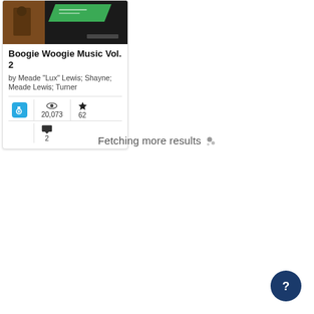[Figure (screenshot): Music album card showing Boogie Woogie Music Vol. 2 with album cover image, author attribution, and stats (20,073 views, 62 favorites, 2 comments)]
Boogie Woogie Music Vol. 2
by Meade "Lux" Lewis; Shayne; Meade Lewis; Turner
Fetching more results
[Figure (other): Help button - dark navy circle with question mark icon, bottom right corner]